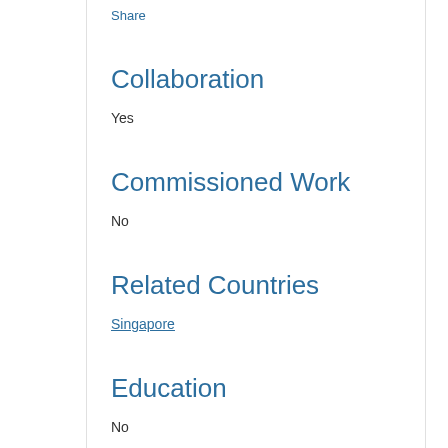Share
Collaboration
Yes
Commissioned Work
No
Related Countries
Singapore
Education
No
Theme
Climates. Habitats. Environments.